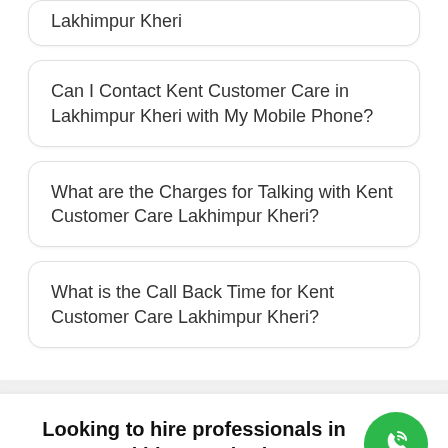Lakhimpur Kheri
Can I Contact Kent Customer Care in Lakhimpur Kheri with My Mobile Phone?
What are the Charges for Talking with Kent Customer Care Lakhimpur Kheri?
What is the Call Back Time for Kent Customer Care Lakhimpur Kheri?
Looking to hire professionals in Lakhimpur Kheri?
Tell us your Kent service requirements and get custom